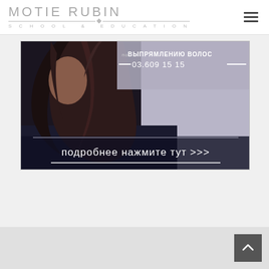MOTIE RUBIN SCHOOL & EDUCATION
[Figure (photo): Advertisement banner for hair straightening service showing a person with long dark hair, with Russian text overlay reading 'ВЫПРЯМЛЕНИЮ ВОЛОС' and phone number '03.609 15 15', and call-to-action text 'подробнее нажмите тут >>>']
Back to top button